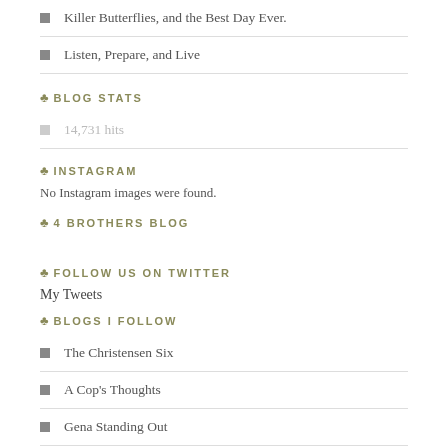Killer Butterflies, and the Best Day Ever.
Listen, Prepare, and Live
BLOG STATS
14,731 hits
INSTAGRAM
No Instagram images were found.
4 BROTHERS BLOG
FOLLOW US ON TWITTER
My Tweets
BLOGS I FOLLOW
The Christensen Six
A Cop's Thoughts
Gena Standing Out